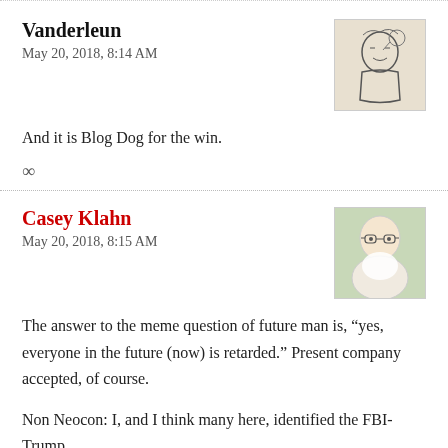Vanderleun
May 20, 2018, 8:14 AM
[Figure (illustration): Small avatar image of a figure, black and white sketch/illustration]
And it is Blog Dog for the win.
∞
Casey Klahn
May 20, 2018, 8:15 AM
[Figure (photo): Small avatar photo of an older man with white beard and glasses]
The answer to the meme question of future man is, “yes, everyone in the future (now) is retarded.” Present company accepted, of course.
Non Neocon: I, and I think many here, identified the FBI-Trump